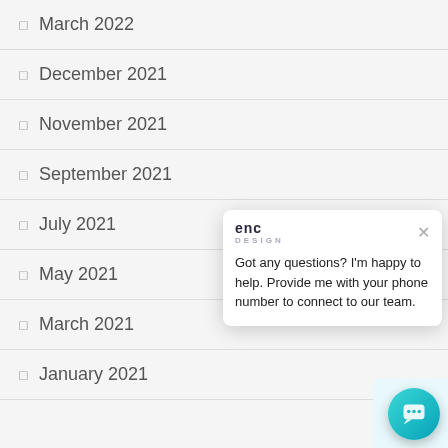March 2022
December 2021
November 2021
September 2021
July 2021
May 2021
March 2021
January 2021
[Figure (screenshot): Chat popup widget with header showing 'enc' brand logo, a close X button, and text: 'Got any questions? I'm happy to help. Provide me with your phone number to connect to our team.' A teal circular chat button is visible in the bottom right corner.]